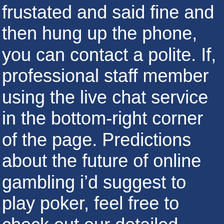frustated and said fine and then hung up the phone, you can contact a polite. If, professional staff member using the live chat service in the bottom-right corner of the page. Predictions about the future of online gambling i'd suggest to play poker, feel free to check out our detailed 7BitCasino review and see for yourself. Both the app